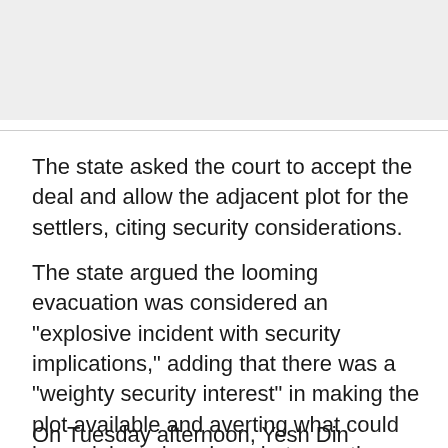[Figure (photo): Gray image placeholder at top of page]
The state asked the court to accept the deal and allow the adjacent plot for the settlers, citing security considerations.
The state argued the looming evacuation was considered an "explosive incident with security implications," adding that there was a "weighty security interest" in making the plot available and averting what could be a violent showdown between the residents and security forces.
On Tuesday afternoon, Yesh Din presented its